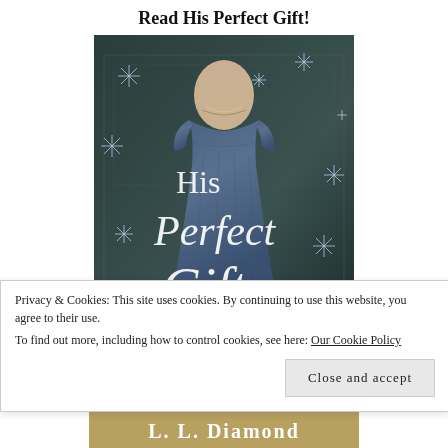Read His Perfect Gift!
[Figure (photo): Book cover of 'His Perfect Gift' showing a woman in a blue Regency-era dress viewed from behind, surrounded by snowflakes, with large script text reading 'His Perfect Gift']
Privacy & Cookies: This site uses cookies. By continuing to use this website, you agree to their use.
To find out more, including how to control cookies, see here: Our Cookie Policy
[Figure (photo): Partial view of author name 'L.L. Diamond' at the bottom of the page]